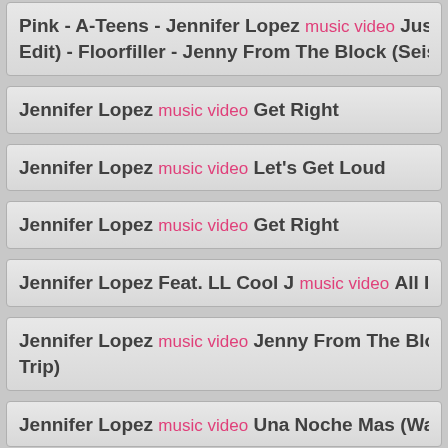Pink - A-Teens - Jennifer Lopez music video Just Li Edit) - Floorfiller - Jenny From The Block (Seism
Jennifer Lopez music video Get Right
Jennifer Lopez music video Let's Get Loud
Jennifer Lopez music video Get Right
Jennifer Lopez Feat. LL Cool J music video All I Hav
Jennifer Lopez music video Jenny From The Block Trip)
Jennifer Lopez music video Una Noche Mas (Waitim